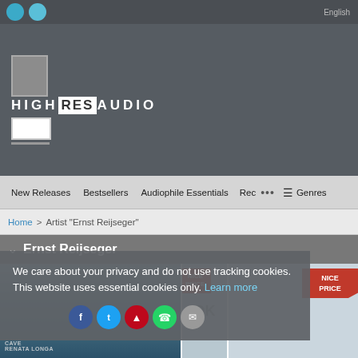HighResAudio website header with logo and navigation
New Releases  Bestsellers  Audiophile Essentials  Rec ...  Genres
Home > Artist "Ernst Reijseger"
Ernst Reijseger
We care about your privacy and do not use tracking cookies. This website uses essential cookies only. Learn more
[Figure (screenshot): Album covers for Ernst Reijseger with NICE PRICE badges]
NICE PRICE